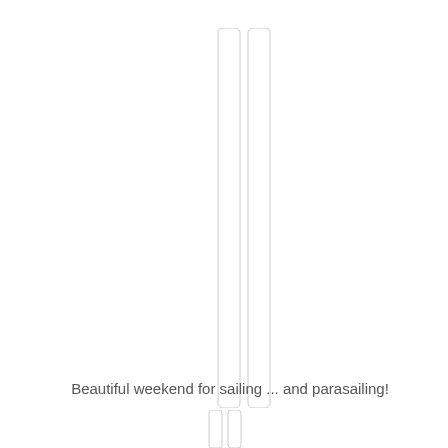[Figure (illustration): Two thin vertical white rounded rectangles side by side, resembling tall slender bars or poles, occupying most of the upper portion of the page.]
Beautiful weekend for sailing ... and parasailing!
[Figure (illustration): Two small thin vertical white rectangles side by side at the bottom of the page, similar to the larger ones above but much shorter.]